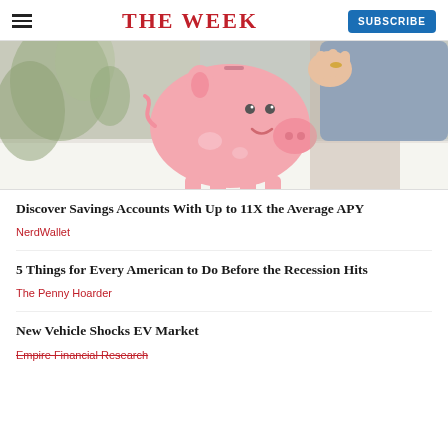THE WEEK
[Figure (photo): Person inserting a coin into a pink piggy bank on a white surface, with a green plant in the background. The person is wearing a blue-grey sweater.]
Discover Savings Accounts With Up to 11X the Average APY
NerdWallet
5 Things for Every American to Do Before the Recession Hits
The Penny Hoarder
New Vehicle Shocks EV Market
Empire Financial Research